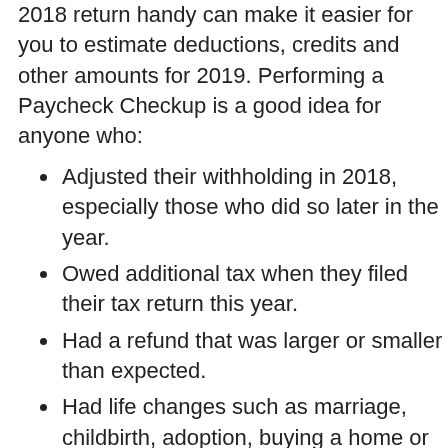2018 return handy can make it easier for you to estimate deductions, credits and other amounts for 2019. Performing a Paycheck Checkup is a good idea for anyone who:
Adjusted their withholding in 2018, especially those who did so later in the year.
Owed additional tax when they filed their tax return this year.
Had a refund that was larger or smaller than expected.
Had life changes such as marriage, childbirth, adoption, buying a home or income changes.
Since most people are affected by the Tax Cuts and Jobs Act all taxpayers should check their withholding. They should do a checkup even if they did one in 2018. This especially includes taxpayers who:
Have children and claim credits such as the Child Tax Credit.
Have older dependents, including children age 17 or older.